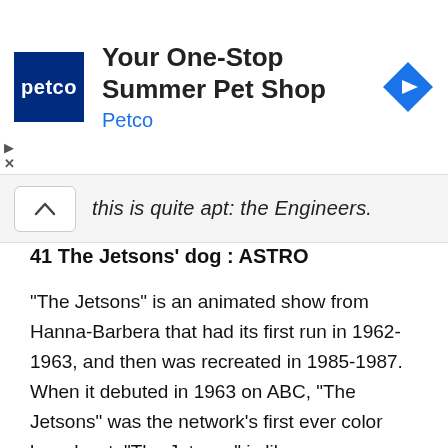[Figure (other): Petco advertisement banner with logo, headline 'Your One-Stop Summer Pet Shop', subtext 'Petco', and a blue diamond navigation icon]
this is quite apt: the Engineers.
41 The Jetsons' dog : ASTRO
“The Jetsons” is an animated show from Hanna-Barbera that had its first run in 1962-1963, and then was recreated in 1985-1987. When it debuted in 1963 on ABC, “The Jetsons” was the network’s first ever color broadcast. “The Jetsons” is like a space-age version of “The Flintstones”. The four Jetson family members are George and Jane, the parents, and children Judy and Elroy. Residing with the family in Orbit City are their household robot Rosie and pet dog Astro.